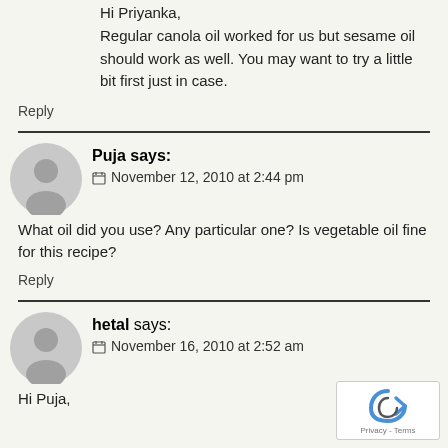Hi Priyanka,
Regular canola oil worked for us but sesame oil should work as well. You may want to try a little bit first just in case.
Reply
Puja says:
November 12, 2010 at 2:44 pm
What oil did you use? Any particular one? Is vegetable oil fine for this recipe?
Reply
hetal says:
November 16, 2010 at 2:52 am
Hi Puja,